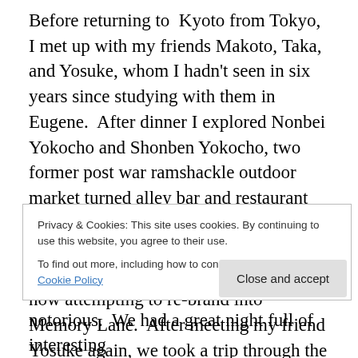Before returning to Kyoto from Tokyo, I met up with my friends Makoto, Taka, and Yosuke, whom I hadn't seen in six years since studying with them in Eugene. After dinner I explored Nonbei Yokocho and Shonben Yokocho, two former post war ramshackle outdoor market turned alley bar and restaurant mini districts. Shomben Yokocho, or Pisser's Lane was a working class drinking area during and after the war, now attempting to re-brand into Memory Lane. After meeting my friend Yosuke again, we took a trip through the final notorious alley spaces of Tokyo with Nonbei Yokocho. or drunkard's alley. which was
Privacy & Cookies: This site uses cookies. By continuing to use this website, you agree to their use.
To find out more, including how to control cookies, see here: Cookie Policy
Close and accept
notorious. We had a great night full of interesting